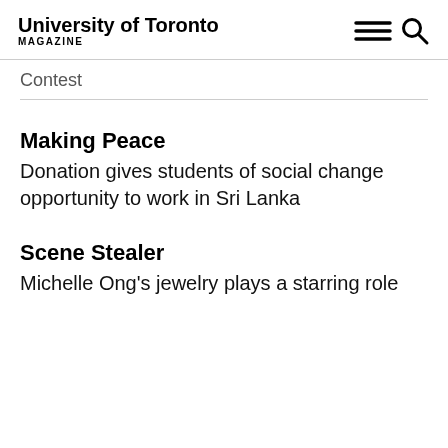University of Toronto MAGAZINE
Contest
Making Peace
Donation gives students of social change opportunity to work in Sri Lanka
Scene Stealer
Michelle Ong's jewelry plays a starring role